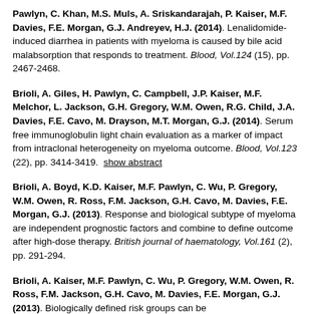Pawlyn, C. Khan, M.S. Muls, A. Sriskandarajah, P. Kaiser, M.F. Davies, F.E. Morgan, G.J. Andreyev, H.J. (2014). Lenalidomide-induced diarrhea in patients with myeloma is caused by bile acid malabsorption that responds to treatment. Blood, Vol.124 (15), pp. 2467-2468.
Brioli, A. Giles, H. Pawlyn, C. Campbell, J.P. Kaiser, M.F. Melchor, L. Jackson, G.H. Gregory, W.M. Owen, R.G. Child, J.A. Davies, F.E. Cavo, M. Drayson, M.T. Morgan, G.J. (2014). Serum free immunoglobulin light chain evaluation as a marker of impact from intraclonal heterogeneity on myeloma outcome. Blood, Vol.123 (22), pp. 3414-3419. show abstract
Brioli, A. Boyd, K.D. Kaiser, M.F. Pawlyn, C. Wu, P. Gregory, W.M. Owen, R. Ross, F.M. Jackson, G.H. Cavo, M. Davies, F.E. Morgan, G.J. (2013). Response and biological subtype of myeloma are independent prognostic factors and combine to define outcome after high-dose therapy. British journal of haematology, Vol.161 (2), pp. 291-294.
Brioli, A. Kaiser, M.F. Pawlyn, C. Wu, P. Gregory, W.M. Owen, R. Ross, F.M. Jackson, G.H. Cavo, M. Davies, F.E. Morgan, G.J. (2013). Biologically defined risk groups can be...